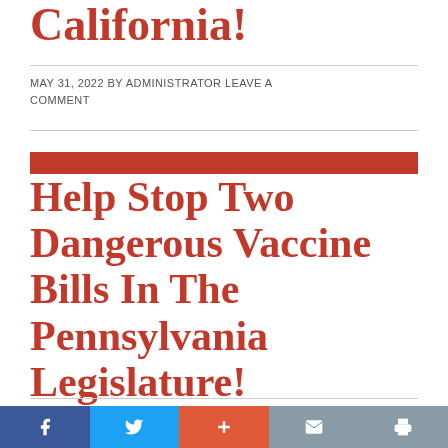California!
MAY 31, 2022 BY ADMINISTRATOR LEAVE A COMMENT
[Figure (other): Red horizontal bar accent above article title]
Help Stop Two Dangerous Vaccine Bills In The Pennsylvania Legislature!
NOVEMBER 5, 2020 BY THE WESTON A PRICE FOUNDATION 1 COMMENT
[Figure (other): Social sharing bar with Facebook, Twitter, Plus, Mail, Print buttons]